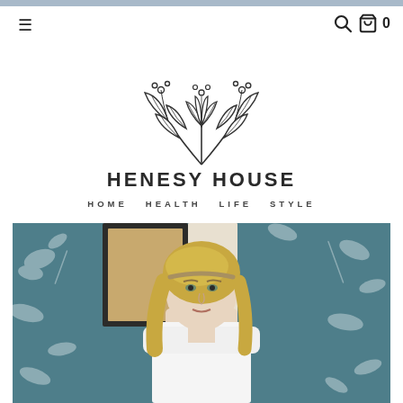[Figure (logo): Henesy House logo with botanical leaf illustration above the brand name. Text reads HENESY HOUSE with tagline HOME HEALTH LIFE STYLE]
[Figure (photo): Photo of a blonde woman standing in front of a teal/blue botanical bird and floral wallpaper, with framed artwork visible behind her]